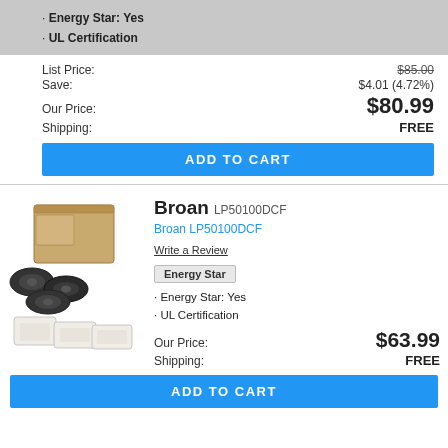Energy Star: Yes
UL Certification
List Price: $85.00
Save: $4.01 (4.72%)
Our Price: $80.99
Shipping: FREE
ADD TO CART
[Figure (photo): Photo of Broan LP50100DCF product box and fan components]
Broan LP50100DCF
Broan LP50100DCF
Write a Review
Energy Star
Energy Star: Yes
UL Certification
Our Price: $63.99
Shipping: FREE
ADD TO CART